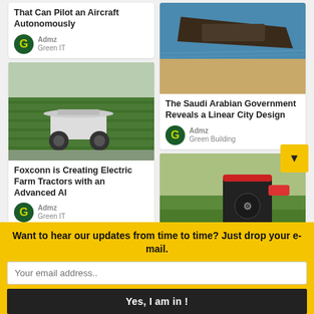That Can Pilot an Aircraft Autonomously
Admz
Green IT
[Figure (photo): Aerial/satellite photo of a large ship or structure near a coastline]
The Saudi Arabian Government Reveals a Linear City Design
Admz
Green Building
[Figure (photo): An autonomous electric farm tractor with a canopy driving through vineyard rows]
Foxconn is Creating Electric Farm Tractors with an Advanced AI
Admz
Green IT
[Figure (photo): A red and black robotic or power tool device on grass]
Want to hear our updates from time to time? Just drop your e-mail.
Your email address..
Yes, I am in !